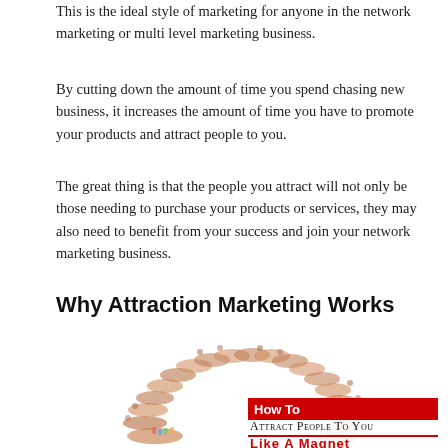This is the ideal style of marketing for anyone in the network marketing or multi level marketing business.
By cutting down the amount of time you spend chasing new business, it increases the amount of time you have to promote your products and attract people to you.
The great thing is that the people you attract will not only be those needing to purchase your products or services, they may also need to benefit from your success and join your network marketing business.
Why Attraction Marketing Works
[Figure (illustration): Aerial view of a crowd of people arranged in the shape of a magnet (horseshoe shape). In the bottom right corner there is an overlay with red banner reading 'How To', text 'Attract People To You' in small caps, and red bold text 'Like A Magnet' with a red line above it.]